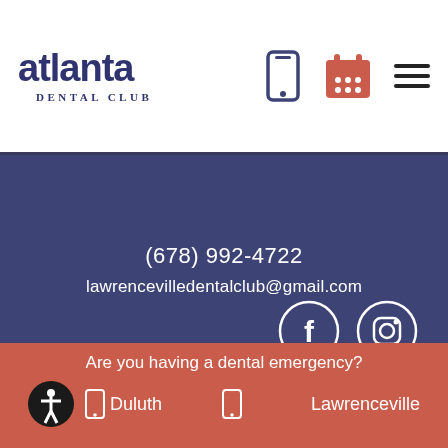[Figure (logo): Atlanta Dental Club logo with large bold text 'atlanta' and arc text 'DENTAL CLUB']
[Figure (other): Header icons: phone, calendar, and hamburger menu]
(678) 992-4722
lawrencevilledentalclub@gmail.com
[Figure (other): Social media icons: Facebook circle and Instagram circle]
Are you having a dental emergency?
Duluth
Lawrenceville